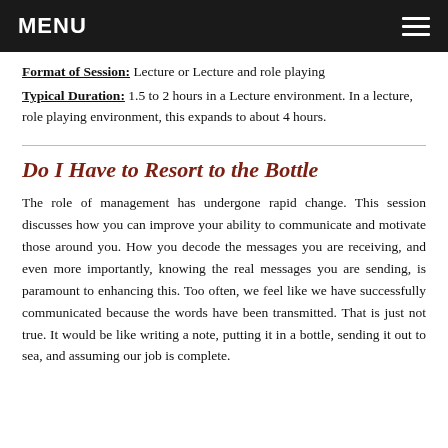MENU
Format of Session: Lecture or Lecture and role playing
Typical Duration: 1.5 to 2 hours in a Lecture environment. In a lecture, role playing environment, this expands to about 4 hours.
Do I Have to Resort to the Bottle
The role of management has undergone rapid change. This session discusses how you can improve your ability to communicate and motivate those around you. How you decode the messages you are receiving, and even more importantly, knowing the real messages you are sending, is paramount to enhancing this. Too often, we feel like we have successfully communicated because the words have been transmitted. That is just not true. It would be like writing a note, putting it in a bottle, sending it out to sea, and assuming our job is complete.